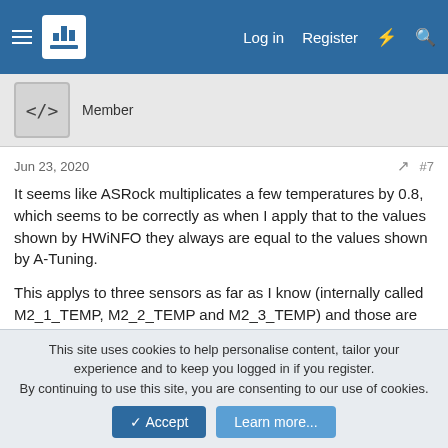Log in  Register
Member
Jun 23, 2020  #7
It seems like ASRock multiplicates a few temperatures by 0.8, which seems to be correctly as when I apply that to the values shown by HWiNFO they always are equal to the values shown by A-Tuning.

This applys to three sensors as far as I know (internally called M2_1_TEMP, M2_2_TEMP and M2_3_TEMP) and those are used on a few other mainboards too, but mostly just X399 and Z490 ones.
This site uses cookies to help personalise content, tailor your experience and to keep you logged in if you register.
By continuing to use this site, you are consenting to our use of cookies.